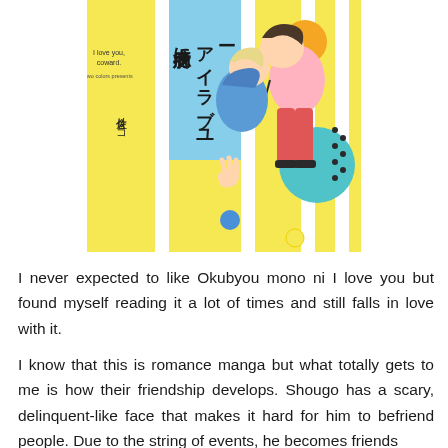[Figure (illustration): Manga book cover for 'Okubyou mono ni I love you' (臆病者にアイラブユー) by Sakura Riko (佐倉リコ). Yellow background with vertical stripe pattern. Features anime-style characters embracing. Text reads 'I love you, coward.' and author name in Japanese.]
I never expected to like Okubyou mono ni I love you but found myself reading it a lot of times and still falls in love with it.
I know that this is romance manga but what totally gets to me is how their friendship develops. Shougo has a scary, delinquent-like face that makes it hard for him to befriend people. Due to the string of events, he becomes friends with the complete opposite. Shun is well-liked and everyone is